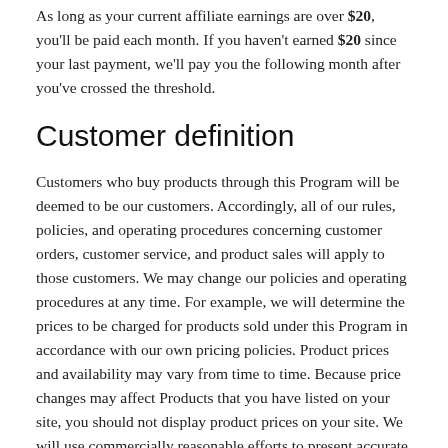As long as your current affiliate earnings are over $20, you'll be paid each month. If you haven't earned $20 since your last payment, we'll pay you the following month after you've crossed the threshold.
Customer definition
Customers who buy products through this Program will be deemed to be our customers. Accordingly, all of our rules, policies, and operating procedures concerning customer orders, customer service, and product sales will apply to those customers. We may change our policies and operating procedures at any time. For example, we will determine the prices to be charged for products sold under this Program in accordance with our own pricing policies. Product prices and availability may vary from time to time. Because price changes may affect Products that you have listed on your site, you should not display product prices on your site. We will use commercially reasonable efforts to present accurate information, but we cannot guarantee the availability or price of any particular product.
License grants